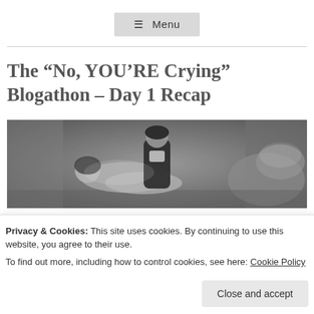☰ Menu
The “No, YOU’RE Crying” Blogathon – Day 1 Recap
[Figure (photo): Black and white film still showing a couple in a romantic scene, the woman lying back and a man leaning over her, with an ornate interior background.]
Privacy & Cookies: This site uses cookies. By continuing to use this website, you agree to their use.
To find out more, including how to control cookies, see here: Cookie Policy
Close and accept